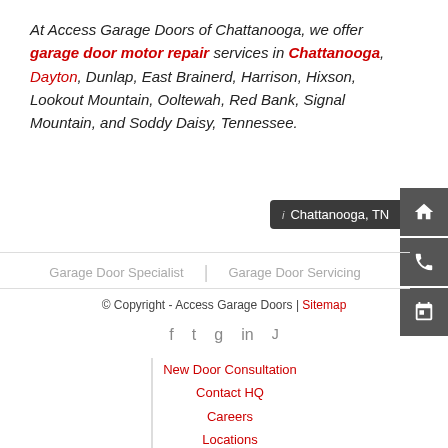At Access Garage Doors of Chattanooga, we offer garage door motor repair services in Chattanooga, Dayton, Dunlap, East Brainerd, Harrison, Hixson, Lookout Mountain, Ooltewah, Red Bank, Signal Mountain, and Soddy Daisy, Tennessee.
[Figure (screenshot): Map tooltip showing 'Chattanooga, TN' with info icon on dark background, and sidebar icons for home, phone, and calendar]
Garage Door Specialist | Garage Door Servicing
© Copyright - Access Garage Doors | Sitemap
New Door Consultation
Contact HQ
Careers
Locations
Privacy Policy